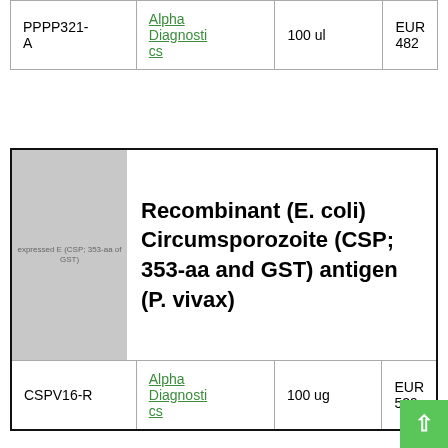| PPPP321-A | Alpha Diagnostics | 100 ul | EUR 482 |
[Figure (photo): Recombinant (E. coli) Circumsporozoite antigen image placeholder (CSP; 353-aa and GST)]
Recombinant (E. coli) Circumsporozoite (CSP; 353-aa and GST) antigen (P. vivax)
| CSPV16-R | Alpha Diagnostics | 100 ug | EUR 529 |